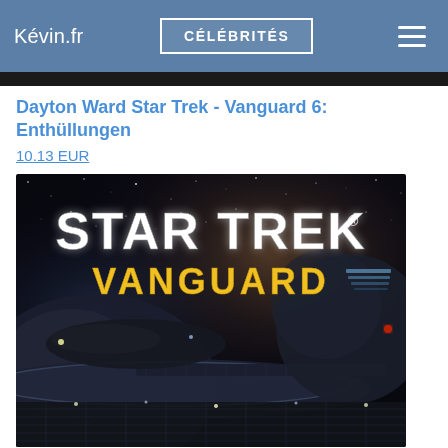Kévin.fr  |  CÉLÉBRITÉS  |  ≡
Dayton Ward Star Trek - Vanguard 6: Enthüllungen
10.13 EUR
[Figure (illustration): Star Trek Vanguard book cover art showing a space station (Starbase Vanguard) with the Star Trek logo in white and 'VANGUARD' text in yellow, set against a starfield nebula background.]